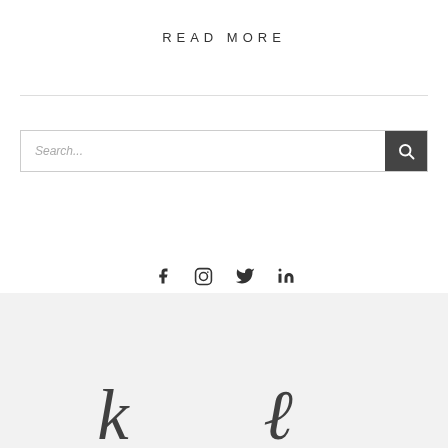READ MORE
[Figure (screenshot): Search bar with text input field and dark search button with magnifying glass icon]
[Figure (infographic): Social media icons: Facebook, Instagram, Twitter, LinkedIn]
[Figure (logo): Two cursive/script style logos on a light gray footer background]